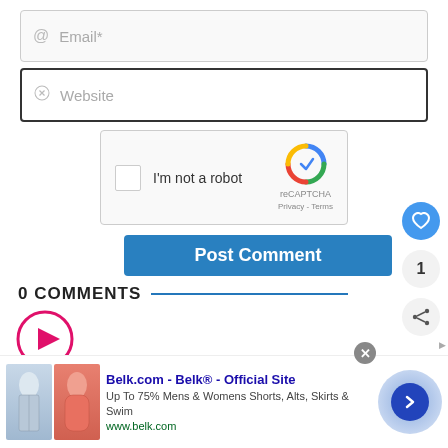[Figure (screenshot): Email input field with @ icon and placeholder text 'Email*']
[Figure (screenshot): Website input field with link icon and placeholder text 'Website', focused with dark border]
[Figure (screenshot): reCAPTCHA widget with checkbox and 'I'm not a robot' text]
[Figure (screenshot): Blue 'Post Comment' button]
0 COMMENTS
[Figure (screenshot): Pink play button circle icon]
[Figure (screenshot): WHAT'S NEXT arrow with VS badge and post_title text]
[Figure (screenshot): Belk.com advertisement banner with clothing images, title 'Belk.com - Belk® - Official Site', description 'Up To 75% Mens & Womens Shorts, Alts, Skirts & Swim', url 'www.belk.com']